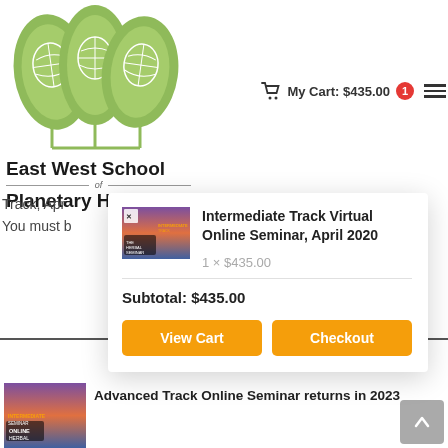[Figure (logo): East West School of Planetary Herbology logo — three green leaf shapes with globe illustrations]
East West School of Planetary Herbology
My Cart: $435.00  1
Track, Apr
You must b
[Figure (photo): Thumbnail image of Intermediate Track Herbal Seminar product]
Intermediate Track Virtual Online Seminar, April 2020
1 × $435.00
Subtotal: $435.00
View Cart
Checkout
[Figure (photo): Thumbnail image of Advanced Track Online Herbal Seminar Intermediate]
Advanced Track Online Seminar returns in 2023